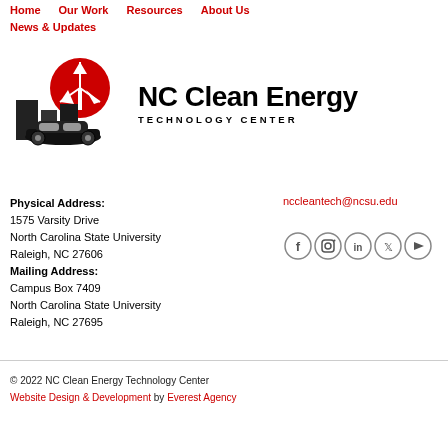Home   Our Work   Resources   About Us   News & Updates
[Figure (logo): NC Clean Energy Technology Center logo: buildings silhouette with red sun and wind turbine, and a car outline below]
NC Clean Energy TECHNOLOGY CENTER
Physical Address:
1575 Varsity Drive
North Carolina State University
Raleigh, NC 27606
Mailing Address:
Campus Box 7409
North Carolina State University
Raleigh, NC 27695
nccleantech@ncsu.edu
[Figure (infographic): Social media icons: Facebook, Instagram, LinkedIn, Twitter, YouTube]
© 2022 NC Clean Energy Technology Center
Website Design & Development by Everest Agency